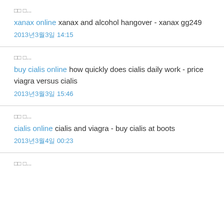□□ □...
xanax online xanax and alcohol hangover - xanax gg249
2013년3월3일 14:15
□□ □...
buy cialis online how quickly does cialis daily work - price viagra versus cialis
2013년3월3일 15:46
□□ □...
cialis online cialis and viagra - buy cialis at boots
2013년3월4일 00:23
□□ □...